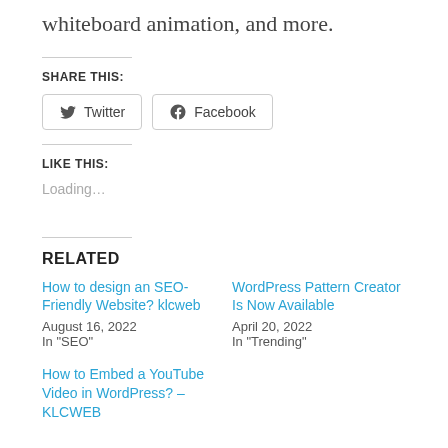whiteboard animation, and more.
SHARE THIS:
Twitter  Facebook
LIKE THIS:
Loading…
RELATED
How to design an SEO-Friendly Website? klcweb
August 16, 2022
In "SEO"
WordPress Pattern Creator Is Now Available
April 20, 2022
In "Trending"
How to Embed a YouTube Video in WordPress? – KLCWEB